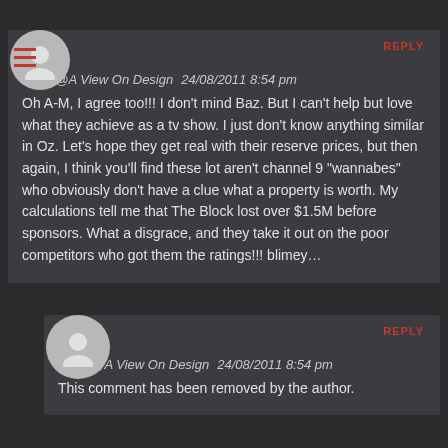Annie@A View On Design  24/08/2011 8:54 pm
Oh A-M, I agree too!!! I don't mind Baz. But I can't help but love what they achieve as a tv show. I just don't know anything similar in Oz. Let's hope they get real with their reserve prices, but then again, I think you'll find these lot aren't channel 9 "wannabes" who obviously don't have a clue what a property is worth. My calculations tell me that The Block lost over $1.5M before sponsors. What a disgrace, and they take it out on the poor competitors who got them the ratings!!! blimey...
Annie@A View On Design  24/08/2011 8:54 pm
This comment has been removed by the author.